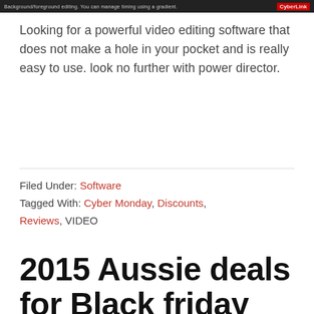[Figure (screenshot): Dark toolbar/header bar from CyberLink software showing text and CyberLink logo]
Looking for a powerful video editing software that does not make a hole in your pocket and is really easy to use. look no further with power director.
Filed Under: Software
Tagged With: Cyber Monday, Discounts, Reviews, VIDEO
2015 Aussie deals for Black friday